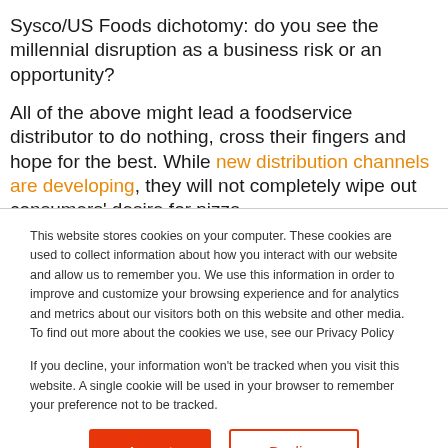Sysco/US Foods dichotomy: do you see the millennial disruption as a business risk or an opportunity?
All of the above might lead a foodservice distributor to do nothing, cross their fingers and hope for the best. While new distribution channels are developing, they will not completely wipe out consumers' desire for pizza
This website stores cookies on your computer. These cookies are used to collect information about how you interact with our website and allow us to remember you. We use this information in order to improve and customize your browsing experience and for analytics and metrics about our visitors both on this website and other media. To find out more about the cookies we use, see our Privacy Policy

If you decline, your information won't be tracked when you visit this website. A single cookie will be used in your browser to remember your preference not to be tracked.
Accept | Decline